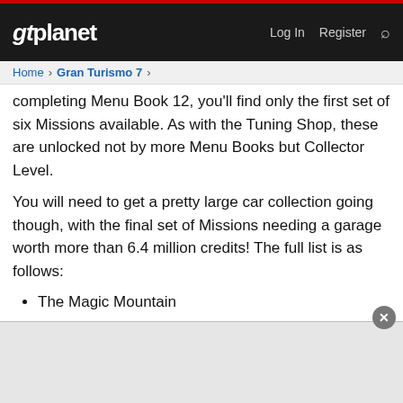gtplanet — Log In  Register
Home > Gran Turismo 7 >
completing Menu Book 12, you'll find only the first set of six Missions available. As with the Tuning Shop, these are unlocked not by more Menu Books but Collector Level.
You will need to get a pretty large car collection going though, with the final set of Missions needing a garage worth more than 6.4 million credits! The full list is as follows:
The Magic Mountain
Complete Menu Book 12 (GT Cafe)
Beyond the Horizon
Collector Level 10 (1510pt)
Rolling Stone